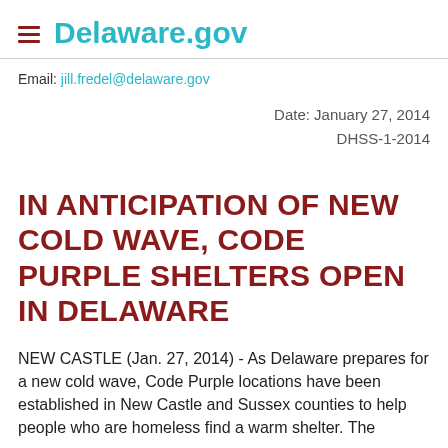Delaware.gov
Email: jill.fredel@delaware.gov
Date: January 27, 2014
DHSS-1-2014
IN ANTICIPATION OF NEW COLD WAVE, CODE PURPLE SHELTERS OPEN IN DELAWARE
NEW CASTLE (Jan. 27, 2014) - As Delaware prepares for a new cold wave, Code Purple locations have been established in New Castle and Sussex counties to help people who are homeless find a warm shelter. The